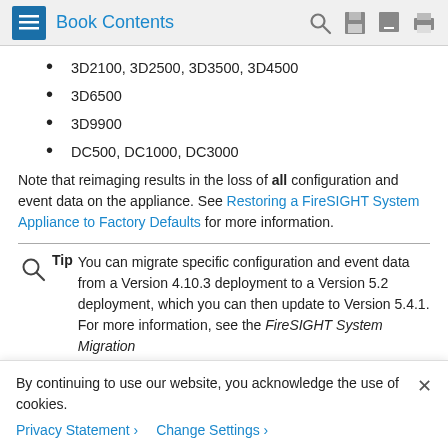Book Contents
3D2100, 3D2500, 3D3500, 3D4500
3D6500
3D9900
DC500, DC1000, DC3000
Note that reimaging results in the loss of all configuration and event data on the appliance. See Restoring a FireSIGHT System Appliance to Factory Defaults for more information.
Tip  You can migrate specific configuration and event data from a Version 4.10.3 deployment to a Version 5.2 deployment, which you can then update to Version 5.4.1. For more information, see the FireSIGHT System Migration
By continuing to use our website, you acknowledge the use of cookies.
Privacy Statement > Change Settings >